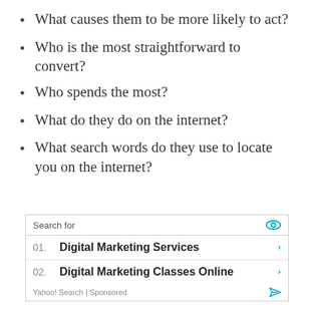What causes them to be more likely to act?
Who is the most straightforward to convert?
Who spends the most?
What do they do on the internet?
What search words do they use to locate you on the internet?
[Figure (screenshot): Yahoo! Search sponsored ad box with 'Search for' header and two results: 01. Digital Marketing Services, 02. Digital Marketing Classes Online]
Yahoo! Search | Sponsored